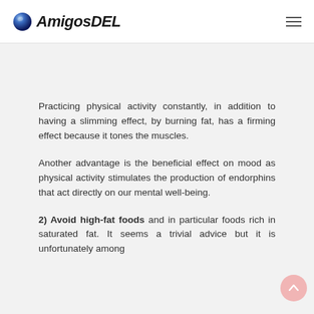AmigosDEL
Practicing physical activity constantly, in addition to having a slimming effect, by burning fat, has a firming effect because it tones the muscles.
Another advantage is the beneficial effect on mood as physical activity stimulates the production of endorphins that act directly on our mental well-being.
2) Avoid high-fat foods and in particular foods rich in saturated fat. It seems a trivial advice but it is unfortunately among